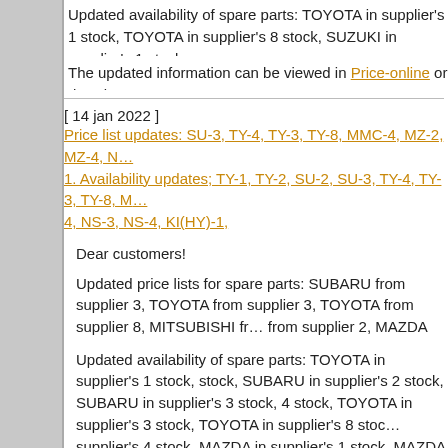Updated availability of spare parts: TOYOTA in supplier's 1 stock, TOYOTA in supplier's 8 stock, SUZUKI in supplier's 1 stock.
The updated information can be viewed in Price-online or downl...
[ 14 jan 2022 ]
Price list updates: SU-3, TY-4, TY-3, TY-8, MMC-4, MZ-2, MZ-4, N... 1. Availability updates; TY-1, TY-2, SU-2, SU-3, TY-4, TY-3, TY-8, M... 4, NS-3, NS-4, KI(HY)-1,
Dear customers!
Updated price lists for spare parts: SUBARU from supplier 3, TOYOTA from supplier 3, TOYOTA from supplier 8, MITSUBISHI fr... from supplier 2, MAZDA from supplier 4, NISSAN from supplier 3, HONDA from supplier 2, FEBEST from supplier 1.
Updated availability of spare parts: TOYOTA in supplier's 1 stock, stock, SUBARU in supplier's 2 stock, SUBARU in supplier's 3 stock, 4 stock, TOYOTA in supplier's 3 stock, TOYOTA in supplier's 8 sto... supplier's 4 stock, MAZDA in supplier's 1 stock, MAZDA in supplie... supplier's 4 stock, NISSAN in supplier's 3 stock, NISSAN in supplie... KIA/HYUNDAI in supplier's 1 stock, HONDA in supplier's 2 stock, K... stock, GENERAL MOTORS in supplier's 1 stock, AC Delco in supp... in supplier's 1 stock.
The updated information can be viewed in Price-online or downl...